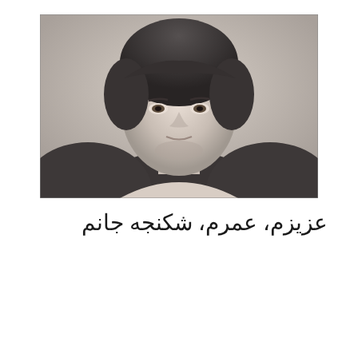[Figure (photo): Black and white photograph of a young person, cropped at shoulders, looking slightly downward. Subject wears a dark textured sweater/jacket. Background is plain light.]
عزیزم، عمرم، شکنجه جانم